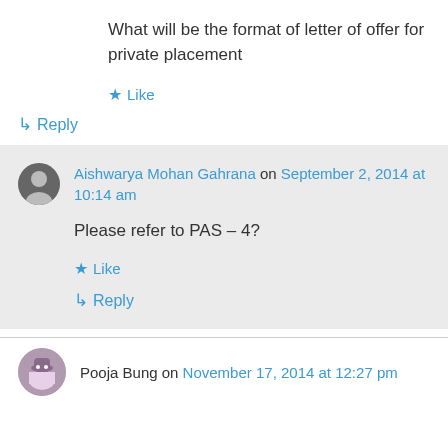What will be the format of letter of offer for private placement
★ Like
↳ Reply
Aishwarya Mohan Gahrana on September 2, 2014 at 10:14 am
Please refer to PAS – 4?
★ Like
↳ Reply
Pooja Bung on November 17, 2014 at 12:27 pm